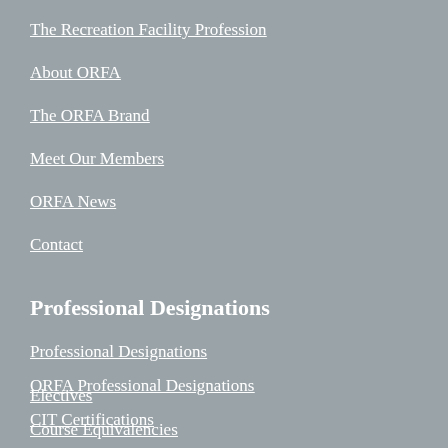The Recreation Facility Profession
About ORFA
The ORFA Brand
Meet Our Members
ORFA News
Contact
Professional Designations
Professional Designations
ORFA Professional Designations
CIT Certifications
Electives
Course Equivalencies